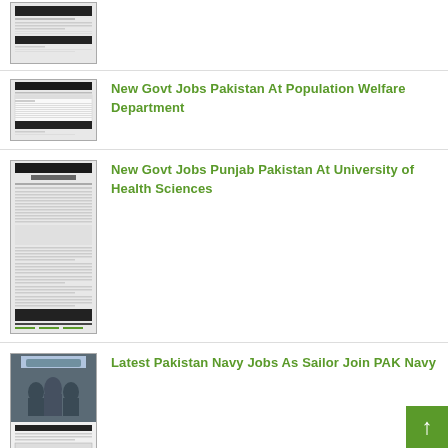[Figure (screenshot): Thumbnail of a government job posting document (cropped top)]
[Figure (screenshot): Thumbnail of Population Welfare Department job posting document]
New Govt Jobs Pakistan At Population Welfare Department
[Figure (screenshot): Thumbnail of University of Health Sciences Punjab job posting document (tall)]
New Govt Jobs Punjab Pakistan At University of Health Sciences
[Figure (photo): Thumbnail of Pakistan Navy recruitment poster and application form]
Latest Pakistan Navy Jobs As Sailor Join PAK Navy
[Figure (screenshot): Thumbnail of Lawrence College Murree Ghora Gali job posting document]
Lawrence College Murree Ghora Gali